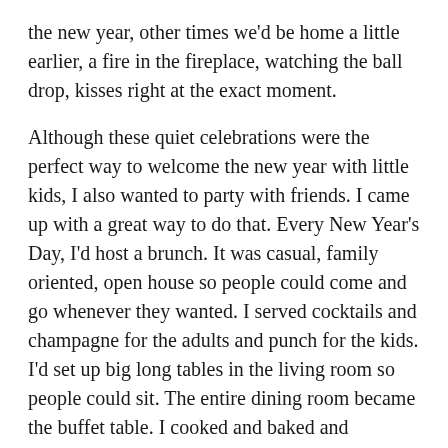the new year, other times we'd be home a little earlier, a fire in the fireplace, watching the ball drop, kisses right at the exact moment.
Although these quiet celebrations were the perfect way to welcome the new year with little kids, I also wanted to party with friends. I came up with a great way to do that. Every New Year's Day, I'd host a brunch. It was casual, family oriented, open house so people could come and go whenever they wanted. I served cocktails and champagne for the adults and punch for the kids. I'd set up big long tables in the living room so people could sit. The entire dining room became the buffet table. I cooked and baked and prepared for weeks. Friends would often bring a favorite dish or whip up a favorite cocktail or just pitch in with the heating and serving. The house was full, often I'd have over 40 guests. And late that afternoon my closest friends would stay and we'd critique the dishes, picking which ones were a definite for the next year.